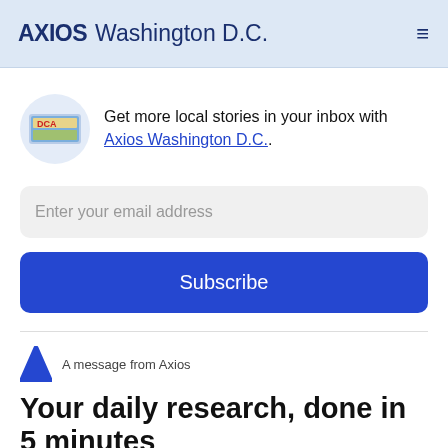AXIOS Washington D.C.
Get more local stories in your inbox with Axios Washington D.C..
Enter your email address
Subscribe
A message from Axios
Your daily research, done in 5 minutes